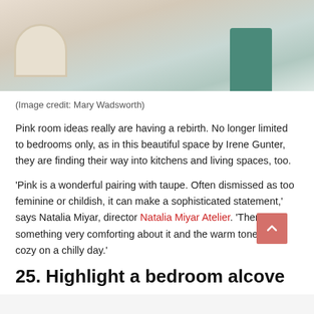[Figure (photo): Bedroom interior photo showing a ribbed ceramic planter with a plant, a light wood floor, and a teal/green Moroccan-style side table next to a light blue bed.]
(Image credit: Mary Wadsworth)
Pink room ideas really are having a rebirth. No longer limited to bedrooms only, as in this beautiful space by Irene Gunter, they are finding their way into kitchens and living spaces, too.
'Pink is a wonderful pairing with taupe. Often dismissed as too feminine or childish, it can make a sophisticated statement,' says Natalia Miyar, director Natalia Miyar Atelier. 'There is something very comforting about it and the warm tones feel cozy on a chilly day.'
25. Highlight a bedroom alcove